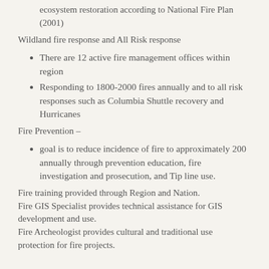ecosystem restoration according to National Fire Plan (2001)
Wildland fire response and All Risk response
There are 12 active fire management offices within region
Responding to 1800-2000 fires annually and to all risk responses such as Columbia Shuttle recovery and Hurricanes
Fire Prevention –
goal is to reduce incidence of fire to approximately 200 annually through prevention education, fire investigation and prosecution, and Tip line use.
Fire training provided through Region and Nation.
Fire GIS Specialist provides technical assistance for GIS development and use.
Fire Archeologist provides cultural and traditional use protection for fire projects.